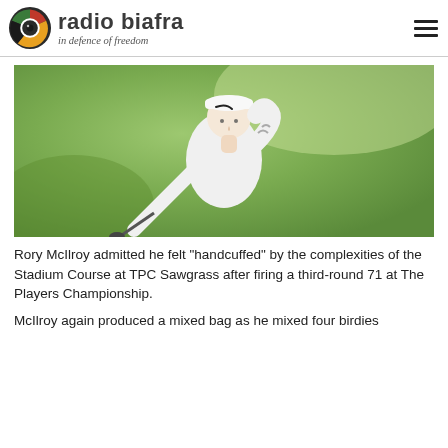radio biafra — in defence of freedom
[Figure (photo): A golfer in a white Nike cap and white polo shirt following through on a golf swing, photographed against a blurred green background.]
Rory McIlroy admitted he felt "handcuffed" by the complexities of the Stadium Course at TPC Sawgrass after firing a third-round 71 at The Players Championship.
McIlroy again produced a mixed bag as he mixed four birdies